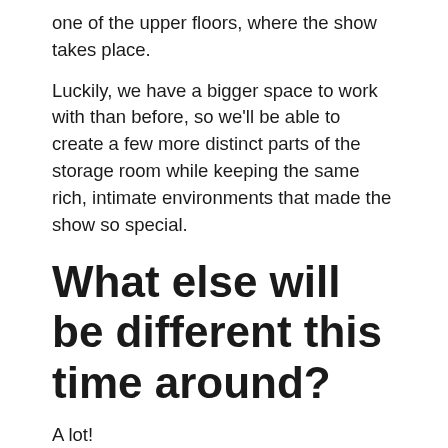one of the upper floors, where the show takes place.
Luckily, we have a bigger space to work with than before, so we'll be able to create a few more distinct parts of the storage room while keeping the same rich, intimate environments that made the show so special.
What else will be different this time around?
A lot!
We did 250 shows of the original version of The Nest, so now we can take those learnings to create the ultimate version from scratch. Since we're in a larger space, the layout is completely different. Some of the scenic design is going in a slightly more abstract direction.